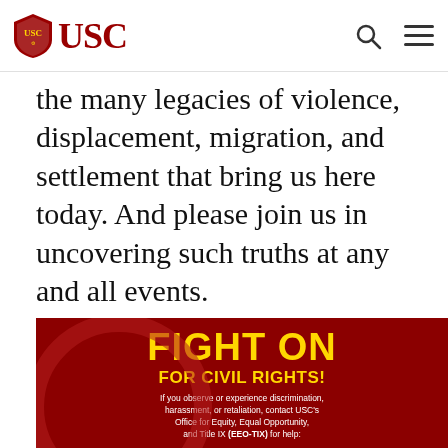USC
the many legacies of violence, displacement, migration, and settlement that bring us here today. And please join us in uncovering such truths at any and all events.
[Figure (infographic): Dark red banner with yellow text reading FIGHT ON / FOR CIVIL RIGHTS! with USC logo, phone number (213) 740-5086, and a 'Quickly Exit This Site' button.]